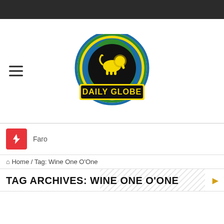Daily Globe navigation header
[Figure (logo): Daily Globe logo: circular globe graphic with blue/green earth, yellow banner reading DAILY GLOBE, black circle background with golden lion rampant]
Faro
Home / Tag: Wine One O'One
TAG ARCHIVES: WINE ONE O'ONE